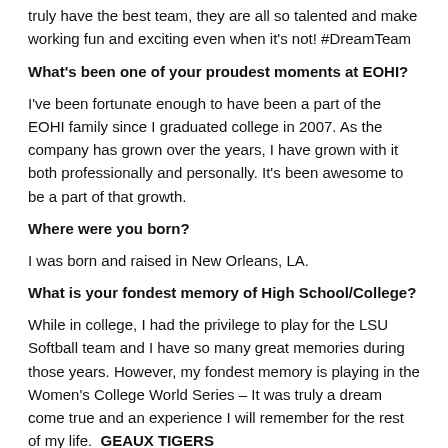truly have the best team, they are all so talented and make working fun and exciting even when it's not! #DreamTeam
What's been one of your proudest moments at EOHI?
I've been fortunate enough to have been a part of the EOHI family since I graduated college in 2007. As the company has grown over the years, I have grown with it both professionally and personally. It's been awesome to be a part of that growth.
Where were you born?
I was born and raised in New Orleans, LA.
What is your fondest memory of High School/College?
While in college, I had the privilege to play for the LSU Softball team and I have so many great memories during those years. However, my fondest memory is playing in the Women's College World Series – It was truly a dream come true and an experience I will remember for the rest of my life.  GEAUX TIGERS
Who/what inspires you?